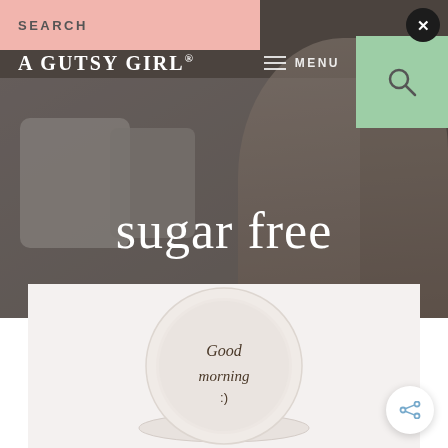SEARCH
A GUTSY GIRL®
MENU
sugar free
[Figure (photo): A latte or cappuccino in a round white cup with 'Good morning :)' written in cocoa powder on the foam, set on a white saucer. The background is light/white.]